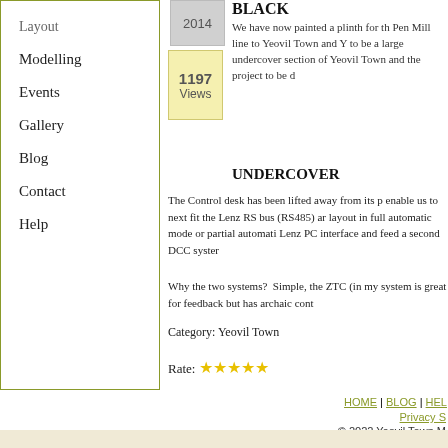Layout
Modelling
Events
Gallery
Blog
Contact
Help
2014
1197 Views
BLACK
We have now painted a plinth for the Pen Mill line to Yeovil Town and Y to be a large undercover section of Yeovil Town and the project to be d
UNDERCOVER
The Control desk has been lifted away from its p enable us to next fit the Lenz RS bus (RS485) ar layout in full automatic mode or partial automati Lenz PC interface and feed a second DCC syster
Why the two systems?  Simple, the ZTC (in my system is great for feedback but has archaic cont
Category: Yeovil Town
Rate: ★★★★★
HOME | BLOG | HEL
Privacy S
© 2022 Yeovil Town M